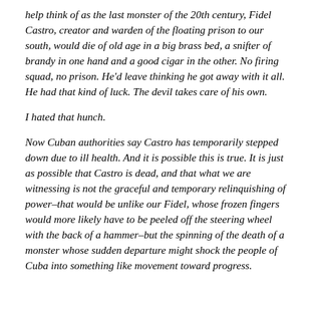help think of as the last monster of the 20th century, Fidel Castro, creator and warden of the floating prison to our south, would die of old age in a big brass bed, a snifter of brandy in one hand and a good cigar in the other. No firing squad, no prison. He'd leave thinking he got away with it all. He had that kind of luck. The devil takes care of his own.
I hated that hunch.
Now Cuban authorities say Castro has temporarily stepped down due to ill health. And it is possible this is true. It is just as possible that Castro is dead, and that what we are witnessing is not the graceful and temporary relinquishing of power–that would be unlike our Fidel, whose frozen fingers would more likely have to be peeled off the steering wheel with the back of a hammer–but the spinning of the death of a monster whose sudden departure might shock the people of Cuba into something like movement toward progress.